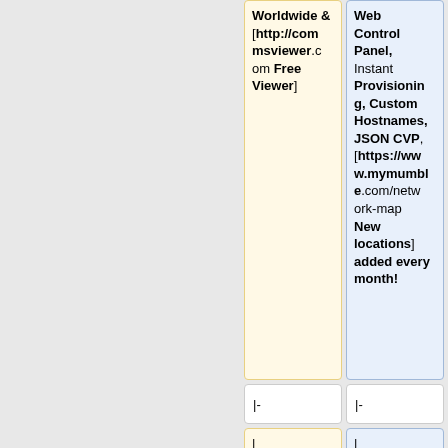| Worldwide & [http://commsviewer.com Free Viewer] | Web Control Panel, Instant Provisioning, Custom Hostnames, JSON CVP, [https://www.mymumble.com/network-map New locations] added every month! |
| |- | |- |
| | [https://www.mumbleboxes.com/ Mumble... | | [http://www.orgpack.com OrgPack] |